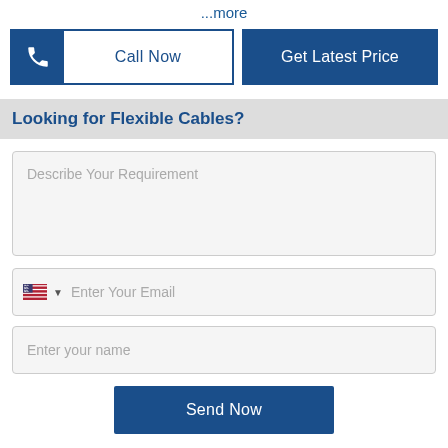...more
Call Now
Get Latest Price
Looking for Flexible Cables?
Describe Your Requirement
Enter Your Email
Enter your name
Send Now